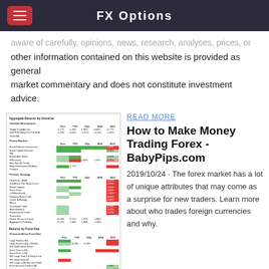FX Options
aware of carefully. Opinions, news, research, analyses, prices, or other information contained on this website is provided as general market commentary and does not constitute investment advice.
[Figure (table-as-image): Aggregate Returns by Universe table showing performance data with colored cells (green/red) for various fund benchmarks and strategies across Prev, YTD, 1/3yr, 2014, 2013 columns; also Returns by Fund Size section]
READ MORE
How to Make Money Trading Forex - BabyPips.com
2019/10/24 · The forex market has a lot of unique attributes that may come as a surprise for new traders. Learn more about who trades foreign currencies and why.
[Figure (photo): Broken image placeholder for Forex trading funds]
READ MORE